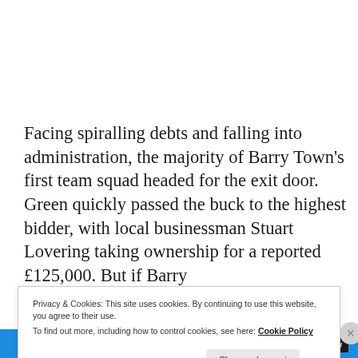Facing spiralling debts and falling into administration, the majority of Barry Town's first team squad headed for the exit door. Green quickly passed the buck to the highest bidder, with local businessman Stuart Lovering taking ownership for a reported £125,000. But if Barry
Privacy & Cookies: This site uses cookies. By continuing to use this website, you agree to their use.
To find out more, including how to control cookies, see here: Cookie Policy
BROWSING